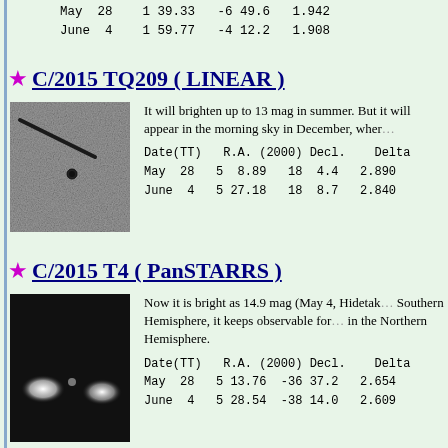| Date(TT) | R.A. (2000) | Decl. | Delta |
| --- | --- | --- | --- |
| May 28 | 1 39.33 | -6 49.6 | 1.942 |
| June 4 | 1 59.77 | -4 12.2 | 1.908 |
C/2015 TQ209 ( LINEAR )
[Figure (photo): Grayscale telescope image of comet C/2015 TQ209 showing a bright dot and a dark streak against a noisy background]
It will brighten up to 13 mag in summer. But it will appear in the morning sky in December, when...
| Date(TT) | R.A. (2000) | Decl. | Delta |
| --- | --- | --- | --- |
| May 28 | 5 8.89 | 18 4.4 | 2.890 |
| June 4 | 5 27.18 | 18 8.7 | 2.840 |
C/2015 T4 ( PanSTARRS )
[Figure (photo): Dark telescope image of comet C/2015 T4 showing bright fuzzy blobs against black background]
Now it is bright as 14.9 mag (May 4, Hidetak...). Southern Hemisphere, it keeps observable for... in the Northern Hemisphere.
| Date(TT) | R.A. (2000) | Decl. | Delta |
| --- | --- | --- | --- |
| May 28 | 5 13.76 | -36 37.2 | 2.654 |
| June 4 | 5 28.54 | -38 14.0 | 2.609 |